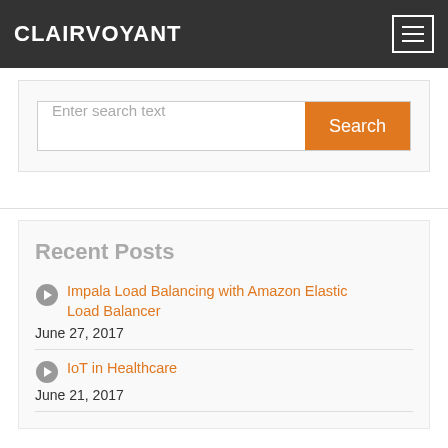CLAIRVOYANT
Enter search text
Recent Posts
Impala Load Balancing with Amazon Elastic Load Balancer
June 27, 2017
IoT in Healthcare
June 21, 2017